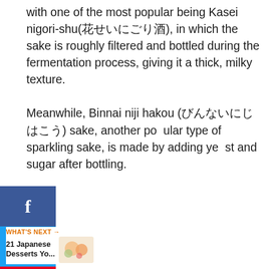with one of the most popular being Kasei nigori-shu(花せいにごり酒), in which the sake is roughly filtered and bottled during the fermentation process, giving it a thick, milky texture.

Meanwhile, Binnai niji hakou (びんないにじはこう) sake, another popular type of sparkling sake, is made by adding yeast and sugar after bottling.
2 – Chūhai (チューハイ or 酎ハイ)
[Figure (photo): A glass of chūhai drink with lemon slices visible, white/light colored drink, shot from above at an angle]
WHAT'S NEXT → 21 Japanese Desserts Yo...